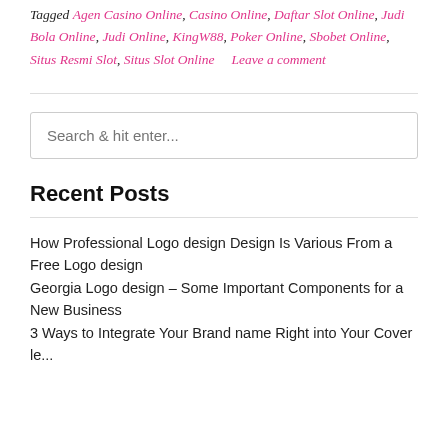Tagged Agen Casino Online, Casino Online, Daftar Slot Online, Judi Bola Online, Judi Online, KingW88, Poker Online, Sbobet Online, Situs Resmi Slot, Situs Slot Online   Leave a comment
Search & hit enter...
Recent Posts
How Professional Logo design Design Is Various From a Free Logo design
Georgia Logo design – Some Important Components for a New Business
3 Ways to Integrate Your Brand name Right into Your Cover le...